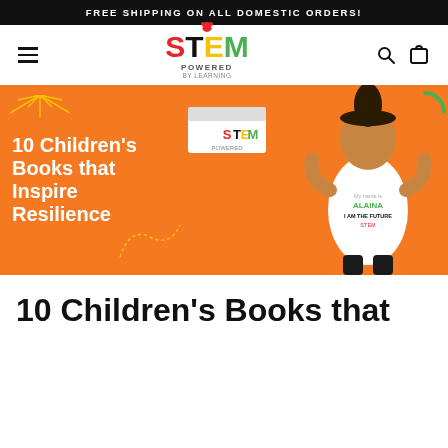FREE SHIPPING ON ALL DOMESTIC ORDERS!
[Figure (logo): STEM Powered logo with colorful letters S (red), T (black), E (yellow), M (green) and 'POWERED' subtitle, with a small ladybug illustration above]
[Figure (infographic): Orange hero banner with white bold text '10 Children's Books that Inspire Resilience', a girl wearing a shirt reading 'My name is ALAINA I AM THE FUTURE', holding a STEM Powered box, with decorative doodles and a green circle arc in the upper right]
10 Children's Books that